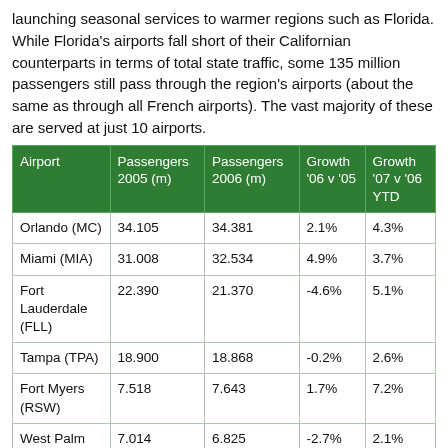launching seasonal services to warmer regions such as Florida. While Florida's airports fall short of their Californian counterparts in terms of total state traffic, some 135 million passengers still pass through the region's airports (about the same as through all French airports). The vast majority of these are served at just 10 airports.
| Airport | Passengers 2005 (m) | Passengers 2006 (m) | Growth '06 v '05 | Growth '07 v '06 YTD |
| --- | --- | --- | --- | --- |
| Orlando (MC) | 34.105 | 34.381 | 2.1% | 4.3% |
| Miami (MIA) | 31.008 | 32.534 | 4.9% | 3.7% |
| Fort Lauderdale (FLL) | 22.390 | 21.370 | -4.6% | 5.1% |
| Tampa (TPA) | 18.900 | 18.868 | -0.2% | 2.6% |
| Fort Myers (RSW) | 7.518 | 7.643 | 1.7% | 7.2% |
| West Palm Beach (PBI) | 7.014 | 6.825 | -2.7% | 2.1% |
| Jacksonville (JAX) | 5.742 | 5.946 | 3.6% | 7.8% |